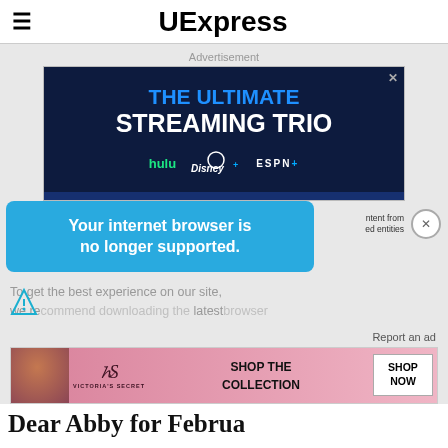UExpress
Advertisement
[Figure (screenshot): Dark navy blue advertisement banner for streaming bundle: 'THE ULTIMATE STREAMING TRIO' with hulu, Disney+, and ESPN+ logos]
[Figure (infographic): Blue rounded notification bubble saying 'Your internet browser is no longer supported.' overlaid on content]
To get the best experience on our site, we re[commend downloading the] latest[browser]
Report an ad
[Figure (screenshot): Victoria's Secret advertisement banner: SHOP THE COLLECTION with SHOP NOW button]
Dear Abby for Februa